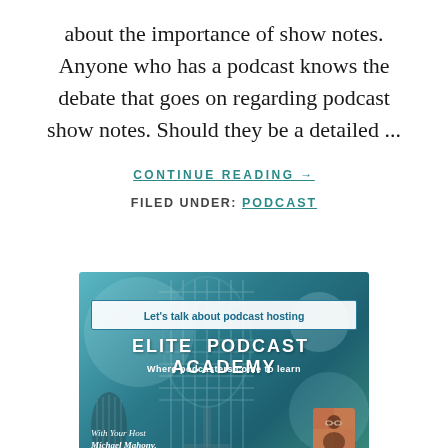about the importance of show notes. Anyone who has a podcast knows the debate that goes on regarding podcast show notes. Should they be a detailed ...
CONTINUE READING →
FILED UNDER: PODCAST
[Figure (illustration): Elite Podcast Academy promotional image showing a microphone background with teal/blue color scheme. Contains a white banner reading 'Let's talk about podcast hosting', bold text 'ELITE PODCAST ACADEMY' and subtitle 'Where podcasters come to learn', plus host section reading 'With Your Host Michael Mahony,' with a small portrait photo.]